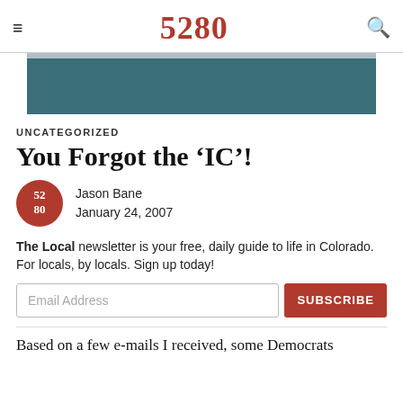5280
[Figure (other): Teal/dark blue advertisement banner]
UNCATEGORIZED
You Forgot the ‘IC’!
Jason Bane
January 24, 2007
The Local newsletter is your free, daily guide to life in Colorado. For locals, by locals. Sign up today!
Based on a few e-mails I received, some Democrats